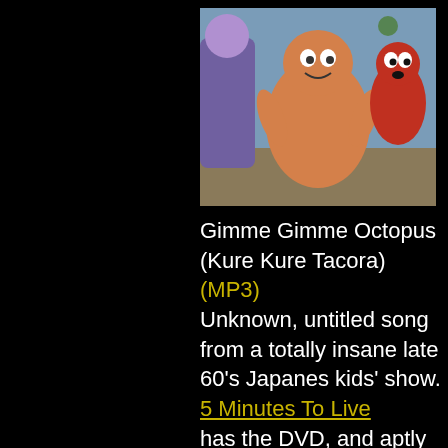[Figure (photo): Photo of costumed characters from a Japanese children's show — an orange peanut-shaped costume character in center, a red character on right, and other costumed figures on left, against an outdoor background.]
Gimme Gimme Octopus (Kure Kure Tacora) (MP3) Unknown, untitled song from a totally insane late 60's Japanes kids' show. 5 Minutes To Live has the DVD, and aptly sum it up this way: "An octopus and a peanut are in love with the same walrus. Playing like a kind of Sesame Street segment on an entire sheet of